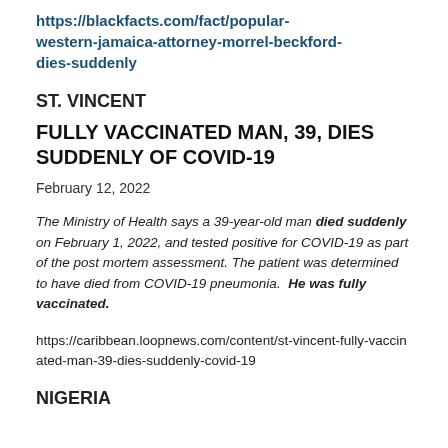https://blackfacts.com/fact/popular-western-jamaica-attorney-morrel-beckford-dies-suddenly
ST. VINCENT
FULLY VACCINATED MAN, 39, DIES SUDDENLY OF COVID-19
February 12, 2022
The Ministry of Health says a 39-year-old man died suddenly on February 1, 2022, and tested positive for COVID-19 as part of the post mortem assessment. The patient was determined to have died from COVID-19 pneumonia. He was fully vaccinated.
https://caribbean.loopnews.com/content/st-vincent-fully-vaccinated-man-39-dies-suddenly-covid-19
NIGERIA